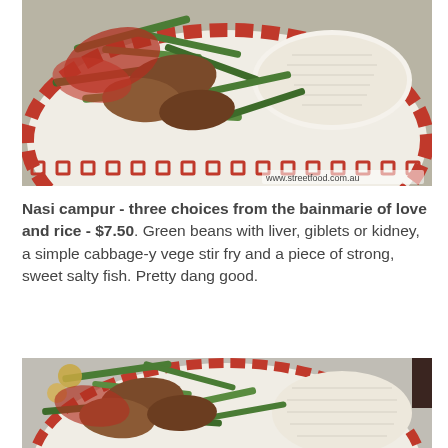[Figure (photo): Close-up photo of a white plate with red decorative border pattern, containing green beans stir-fried with meat (liver/giblets), red chili sauce, and white rice. Watermark reads www.streetfood.com.au]
Nasi campur - three choices from the bainmarie of love and rice - $7.50. Green beans with liver, giblets or kidney, a simple cabbage-y vege stir fry and a piece of strong, sweet salty fish. Pretty dang good.
[Figure (photo): Second photo of a similar plate of nasi campur with green beans, meat pieces, and white rice on a white plate with red border, partially cropped.]